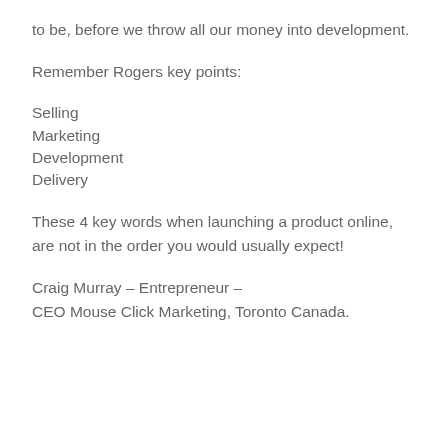to be, before we throw all our money into development.
Remember Rogers key points:
Selling
Marketing
Development
Delivery
These 4 key words when launching a product online, are not in the order you would usually expect!
Craig Murray – Entrepreneur –
CEO Mouse Click Marketing, Toronto Canada.